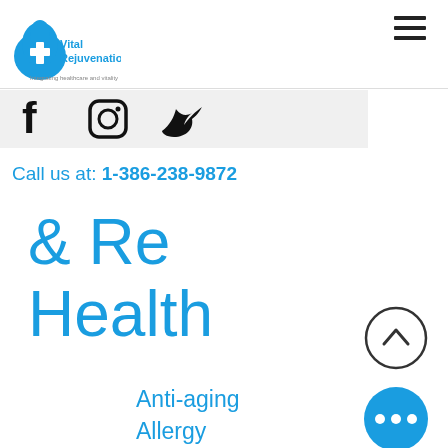[Figure (logo): Vital Rejuvenation logo — blue water drop with medical cross, text 'Vital Rejuvenation' and tagline 'Integrating healthcare and vitality']
[Figure (other): Hamburger menu icon (three horizontal lines)]
[Figure (other): Social media icon bar with Facebook, Instagram, and Twitter icons on grey background]
Call us at: 1-386-238-9872
& Re
Health
[Figure (other): Scroll-to-top button: circle with upward chevron]
Anti-aging
Allergy
[Figure (other): Blue circular button with three white dots (more options)]